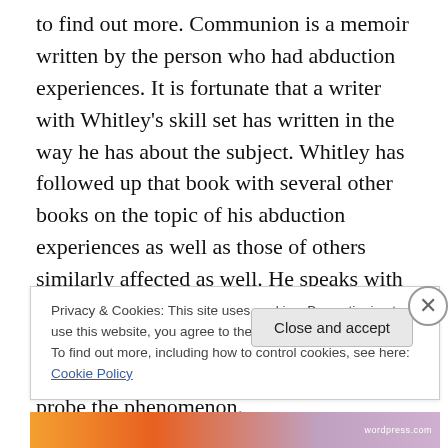to find out more. Communion is a memoir written by the person who had abduction experiences. It is fortunate that a writer with Whitley's skill set has written in the way he has about the subject. Whitley has followed up that book with several other books on the topic of his abduction experiences as well as those of others similarly affected as well. He speaks with his own voice with his own set of questions and is willing, it seems to consider all kinds of theories in order to probe the phenomenon.

His is one voice, not to take anything away from his
Privacy & Cookies: This site uses cookies. By continuing to use this website, you agree to their use.
To find out more, including how to control cookies, see here: Cookie Policy
Close and accept